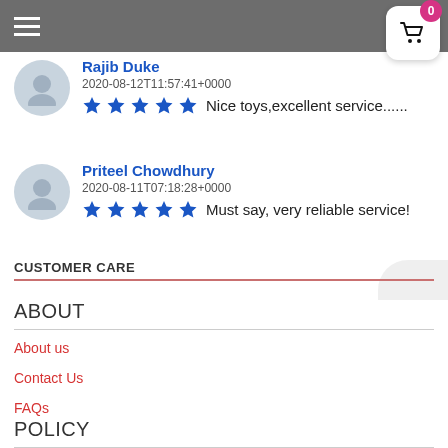Navigation header with hamburger menu and cart icon showing 0 items
Rajib Duke
2020-08-12T11:57:41+0000
★★★★★ Nice toys,excellent service......
Priteel Chowdhury
2020-08-11T07:18:28+0000
★★★★★ Must say, very reliable service!
CUSTOMER CARE
ABOUT
About us
Contact Us
FAQs
POLICY